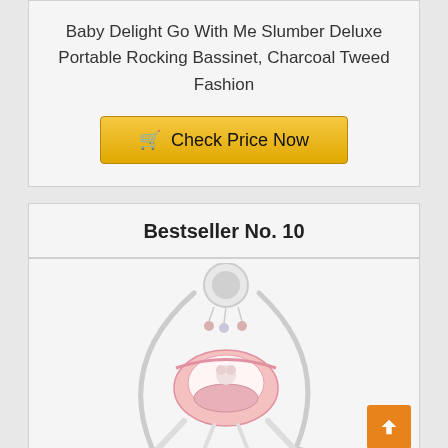Baby Delight Go With Me Slumber Deluxe Portable Rocking Bassinet, Charcoal Tweed Fashion
[Figure (other): Golden 'Check Price Now' button with shopping cart icon]
Bestseller No. 10
[Figure (photo): Pink and white baby swing/bouncer with mobile attachment on white stand, shown against white background]